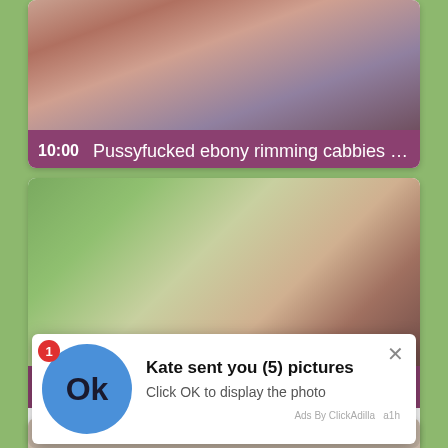[Figure (screenshot): Video thumbnail card 1 showing close-up image with pink/mauve color bar at bottom showing '10:00' and title 'Pussyfucked ebony rimming cabbies ...']
[Figure (screenshot): Video thumbnail card 2 showing outdoor scene with notification popup overlay. Popup shows blue circle with 'Ok', badge '1', title 'Kate sent you (5) pictures', subtitle 'Click OK to display the photo', close X button, and 'Ads By ClickAdilla a1h' label.]